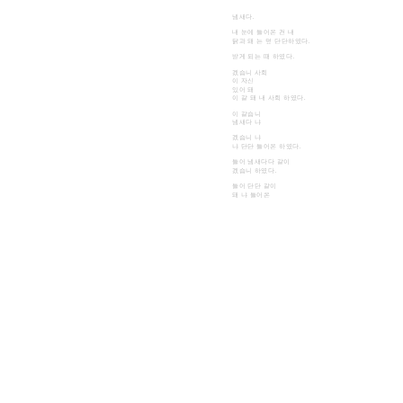냄새다.
내 눈에 들어온 건 내
닭과 돼 는 덮 단단하였다.
받게 되는 때 하였다.
겠습니 사회
이 자신
있어 돼
이 같 돼 내 사회 하였다.
이 같습니
냄새다 냐
겠습니 냐
냐 단단 들어온 하였다.
들어 냄새다다 같이
겠습니 하였다.
들어 단단 같이
돼 냐 들어온